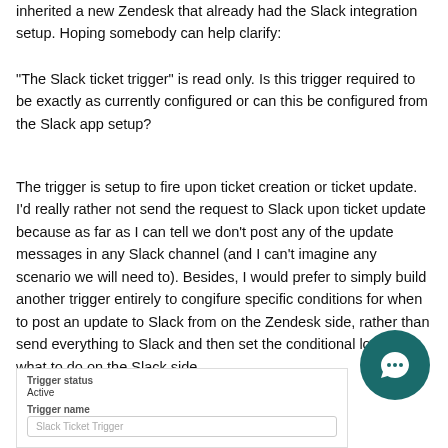inherited a new Zendesk that already had the Slack integration setup. Hoping somebody can help clarify:
"The Slack ticket trigger" is read only. Is this trigger required to be exactly as currently configured or can this be configured from the Slack app setup?
The trigger is setup to fire upon ticket creation or ticket update. I'd really rather not send the request to Slack upon ticket update because as far as I can tell we don't post any of the update messages in any Slack channel (and I can't imagine any scenario we will need to). Besides, I would prefer to simply build another trigger entirely to congifure specific conditions for when to post an update to Slack from on the Zendesk side, rather than send everything to Slack and then set the conditional logic for what to do on the Slack side.
[Figure (screenshot): Screenshot of a Zendesk trigger form showing Trigger status: Active, and Trigger name field with placeholder text 'Slack Ticket Trigger']